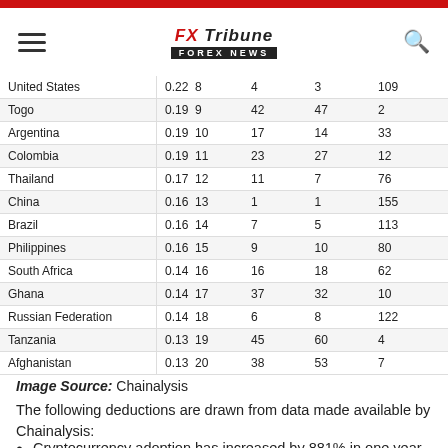FX Tribune FOREX NEWS
| Country | Score | Rank | Col3 | Col4 | Col5 |
| --- | --- | --- | --- | --- | --- |
| United States | 0.22 | 8 | 4 | 3 | 109 |
| Togo | 0.19 | 9 | 42 | 47 | 2 |
| Argentina | 0.19 | 10 | 17 | 14 | 33 |
| Colombia | 0.19 | 11 | 23 | 27 | 12 |
| Thailand | 0.17 | 12 | 11 | 7 | 76 |
| China | 0.16 | 13 | 1 | 1 | 155 |
| Brazil | 0.16 | 14 | 7 | 5 | 113 |
| Philippines | 0.16 | 15 | 9 | 10 | 80 |
| South Africa | 0.14 | 16 | 16 | 18 | 62 |
| Ghana | 0.14 | 17 | 37 | 32 | 10 |
| Russian Federation | 0.14 | 18 | 6 | 8 | 122 |
| Tanzania | 0.13 | 19 | 45 | 60 | 4 |
| Afghanistan | 0.13 | 20 | 38 | 53 | 7 |
Image Source: Chainalysis
The following deductions are drawn from data made available by Chainalysis:
Cryptocurrency adoption has increased by 881% in one year with Vietnam, India, and Pakistan recording the highest adoption rate.
154 countries were ranked using indexes